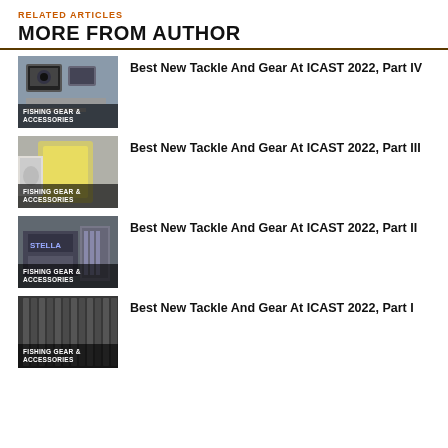RELATED ARTICLES
MORE FROM AUTHOR
[Figure (photo): Photo of fishing gear/electronics at ICAST 2022 with label FISHING GEAR & ACCESSORIES]
Best New Tackle And Gear At ICAST 2022, Part IV
[Figure (photo): Photo of person holding yellow fishing gear at ICAST 2022 with label FISHING GEAR & ACCESSORIES]
Best New Tackle And Gear At ICAST 2022, Part III
[Figure (photo): Photo of Shimano Stella reel display at ICAST 2022 with label FISHING GEAR & ACCESSORIES]
Best New Tackle And Gear At ICAST 2022, Part II
[Figure (photo): Photo of fishing rods display at ICAST 2022 with label FISHING GEAR & ACCESSORIES]
Best New Tackle And Gear At ICAST 2022, Part I